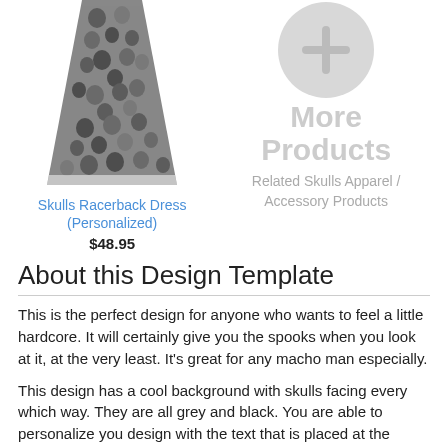[Figure (illustration): A racerback dress with skulls pattern in grey and black on a white background]
Skulls Racerback Dress (Personalized)
$48.95
[Figure (illustration): A grey circle with a plus/arrow icon inside, representing more products]
More Products
Related Skulls Apparel / Accessory Products
About this Design Template
This is the perfect design for anyone who wants to feel a little hardcore. It will certainly give you the spooks when you look at it, at the very least. It's great for any macho man especially.
This design has a cool background with skulls facing every which way. They are all grey and black. You are able to personalize you design with the text that is placed at the bottom of the design. This really is the perfect design for your hardcore man!
In our design center there are plenty of design choices to make. You can change the font, colors, pattern, and more! You